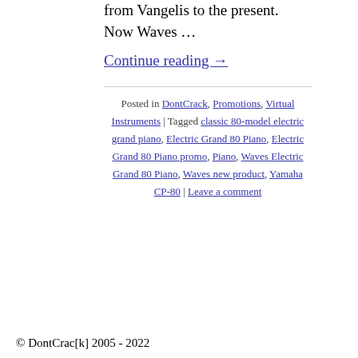from Vangelis to the present. Now Waves …
Continue reading →
Posted in DontCrack, Promotions, Virtual Instruments | Tagged classic 80-model electric grand piano, Electric Grand 80 Piano, Electric Grand 80 Piano promo, Piano, Waves Electric Grand 80 Piano, Waves new product, Yamaha CP-80 | Leave a comment
© DontCrac[k] 2005 - 2022